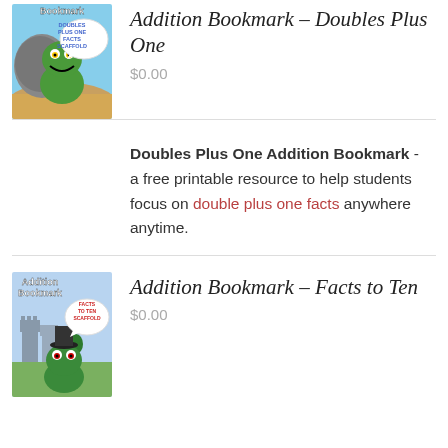[Figure (illustration): Addition Bookmark - Doubles Plus One Facts Scaffold product thumbnail showing a cartoon monster with speech bubble]
Addition Bookmark – Doubles Plus One
$0.00
Doubles Plus One Addition Bookmark - a free printable resource to help students focus on double plus one facts anywhere anytime.
[Figure (illustration): Addition Bookmark - Facts to Ten Scaffold product thumbnail showing a cartoon monster with speech bubble]
Addition Bookmark – Facts to Ten
$0.00